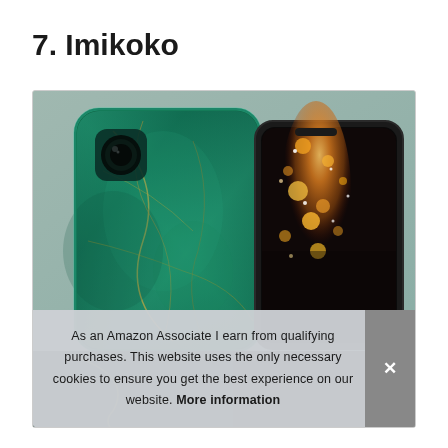7. Imikoko
[Figure (photo): Two smartphones shown side by side: the left phone displaying a green marble patterned case on its back, with a camera lens visible. The right phone shows its screen with a glittery bokeh light display. Both phones are set against a light gray background inside a bordered box.]
As an Amazon Associate I earn from qualifying purchases. This website uses the only necessary cookies to ensure you get the best experience on our website. More information